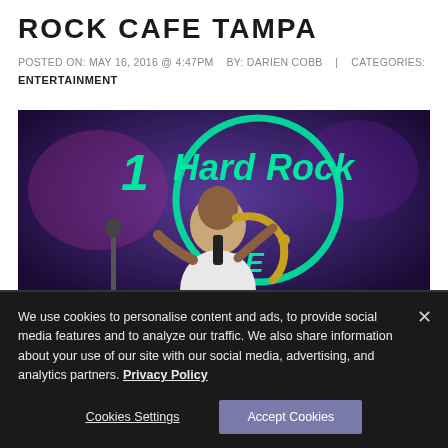ROCK CAFE TAMPA
POSTED ON: MAY 16, 2016 @ 4:47PM   BY: DARIEN COBB   |   CATEGORIES:
ENTERTAINMENT
[Figure (photo): A musician playing saxophone in front of a Hard Rock Cafe neon sign with purple/blue lighting]
We use cookies to personalise content and ads, to provide social media features and to analyze our traffic. We also share information about your use of our site with our social media, advertising, and analytics partners. Privacy Policy
Cookies Settings
Accept Cookies